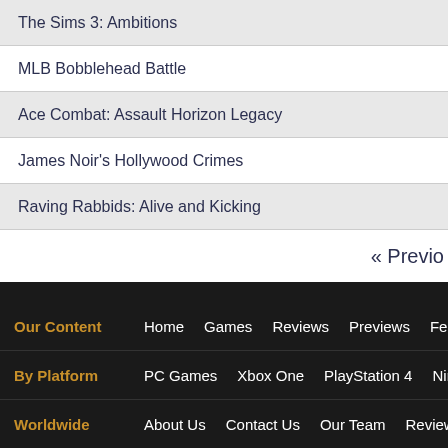The Sims 3: Ambitions
MLB Bobblehead Battle
Ace Combat: Assault Horizon Legacy
James Noir's Hollywood Crimes
Raving Rabbids: Alive and Kicking
« Previo
Our Content  Home  Games  Reviews  Previews  Features  Com... | By Platform  PC Games  Xbox One  PlayStation 4  Nintendo 3DS | Worldwide  About Us  Contact Us  Our Team  Review Guide  RSS
Copyright ©2000-2018 By GamingExcellence. All Rights Reserved. About GamingExcellence | Advertising | Privacy Policy | Terms of Use